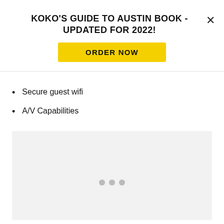KOKO'S GUIDE TO AUSTIN BOOK - UPDATED FOR 2022!
ORDER NOW
Secure guest wifi
A/V Capabilities
[Figure (photo): Image carousel placeholder (light gray box with three dots indicating carousel navigation)]